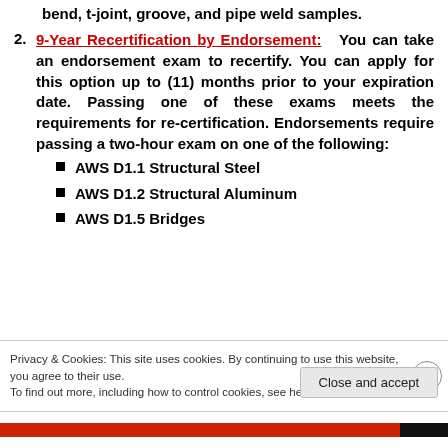bend, t-joint, groove, and pipe weld samples.
9-Year Recertification by Endorsement: You can take an endorsement exam to recertify. You can apply for this option up to (11) months prior to your expiration date. Passing one of these exams meets the requirements for re-certification. Endorsements require passing a two-hour exam on one of the following:
AWS D1.1 Structural Steel
AWS D1.2 Structural Aluminum
AWS D1.5 Bridges
Privacy & Cookies: This site uses cookies. By continuing to use this website, you agree to their use. To find out more, including how to control cookies, see here: Cookie Policy